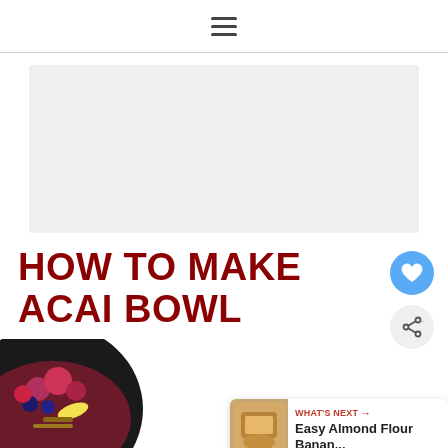≡ (hamburger menu icon)
[Figure (other): Gray advertisement banner placeholder]
HOW TO MAKE ACAI BOWL
[Figure (photo): Heart/save button (blue circle with heart icon) and share button (gray circle with share icon)]
[Figure (photo): Acai bowl in a black bowl topped with raspberries, blueberries, banana slices, and granola]
[Figure (other): What's Next card showing 'WHAT'S NEXT → Easy Almond Flour Banan...' with a thumbnail image of baked goods]